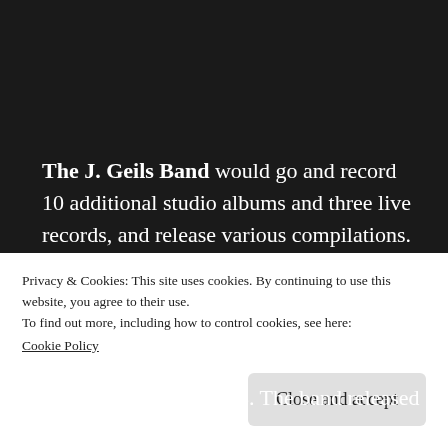The J. Geils Band would go and record 10 additional studio albums and three live records, and release various compilations. Only one of their '70s studio records, Bloodshot, charted in the top 10 on the Billboard 200 at no. 10. Ironically, shortly after the band finally hit commercial success with Freeze-Frame from
Privacy & Cookies: This site uses cookies. By continuing to use this website, you agree to their use.
To find out more, including how to control cookies, see here:
Cookie Policy
Close and accept
Peter Wolf left in 1983. The band released one